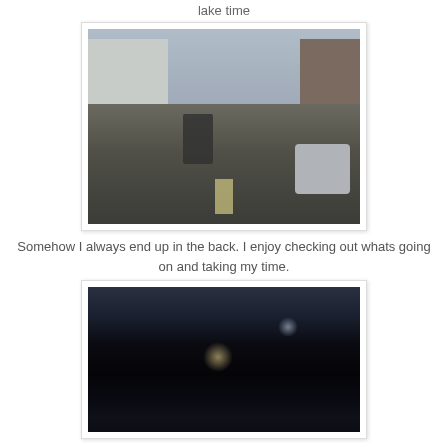lake time
[Figure (photo): Street scene with cyclists riding in the road lane, buildings on both sides, cars visible on the right, overcast sky]
Somehow I always end up in the back. I enjoy checking out whats going on and taking my time.
[Figure (photo): Dark nighttime scene with cyclists stopped or riding slowly, trees overhead, faint lights visible including bicycle lights and a blue helmet]